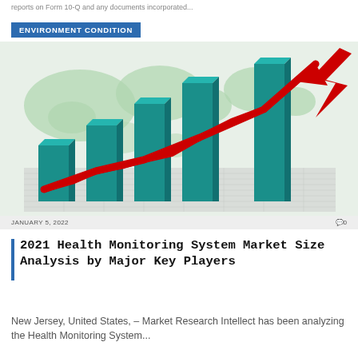reports on Form 10-Q and any documents incorporated...
ENVIRONMENT CONDITION
[Figure (bar-chart): 3D bar chart with rising teal/green bars and a red upward trending arrow overlay on a world map background, illustrating market growth]
JANUARY 5, 2022    0
2021 Health Monitoring System Market Size Analysis by Major Key Players
New Jersey, United States, – Market Research Intellect has been analyzing the Health Monitoring System...